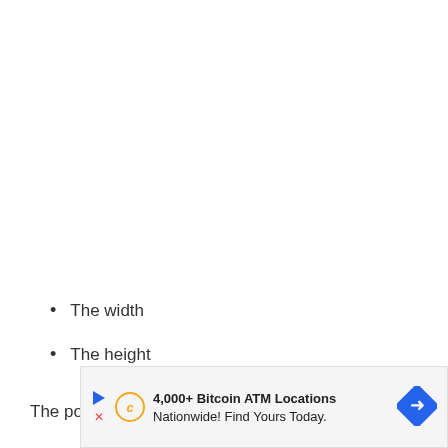The width
The height
The position of the outlet and length of the electrical
[Figure (other): Advertisement banner for Bitcoin ATM locations: '4,000+ Bitcoin ATM Locations Nationwide! Find Yours Today.' with play button, coin icon, and blue diamond arrow icon.]